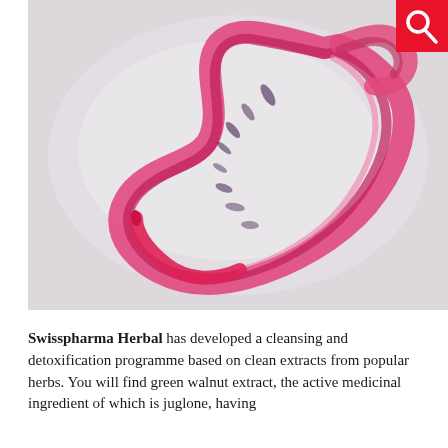[Figure (photo): Microscope image of a parasitic worm (nematode/helminth) stained pink/magenta, curved in a C-shape, against a light grey background.]
Swisspharma Herbal has developed a cleansing and detoxification programme based on clean extracts from popular herbs. You will find green walnut extract, the active medicinal ingredient of which is juglone, having